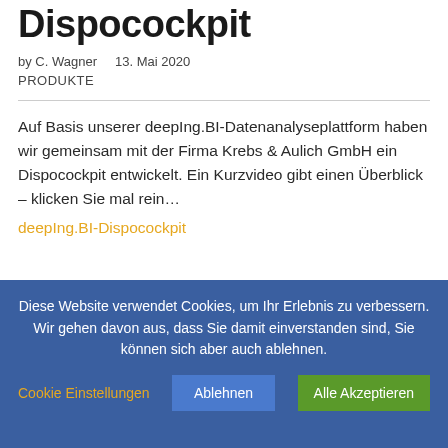Dispocockpit
by C. Wagner    13. Mai 2020
PRODUKTE
Auf Basis unserer deepIng.BI-Datenanalyseplattform haben wir gemeinsam mit der Firma Krebs & Aulich GmbH ein Dispocockpit entwickelt. Ein Kurzvideo gibt einen Überblick – klicken Sie mal rein…
deepIng.BI-Dispocockpit
Diese Website verwendet Cookies, um Ihr Erlebnis zu verbessern. Wir gehen davon aus, dass Sie damit einverstanden sind, Sie können sich aber auch ablehnen.
Cookie Einstellungen
Ablehnen
Alle Akzeptieren